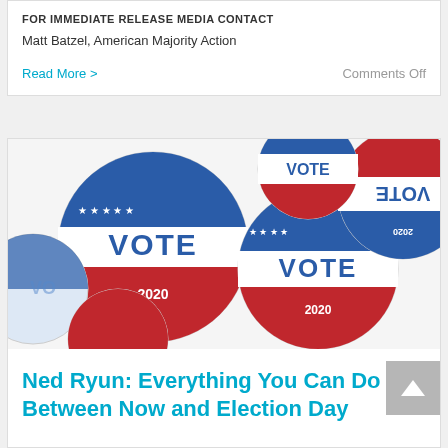FOR IMMEDIATE RELEASE MEDIA CONTACT
Matt Batzel, American Majority Action
Read More >
Comments Off
[Figure (photo): Multiple red, white, and blue 'VOTE 2020' campaign buttons scattered on a white surface]
Ned Ryun: Everything You Can Do Between Now and Election Day